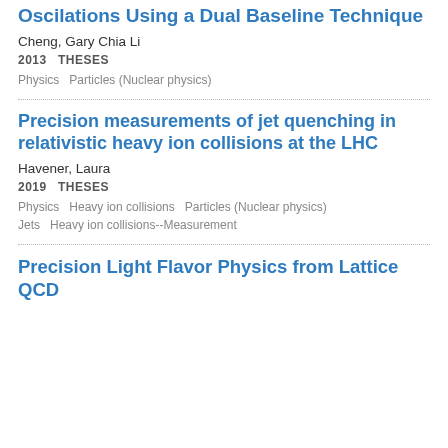Oscilations Using a Dual Baseline Technique
Cheng, Gary Chia Li
2013   THESES
Physics   Particles (Nuclear physics)
Precision measurements of jet quenching in relativistic heavy ion collisions at the LHC
Havener, Laura
2019   THESES
Physics   Heavy ion collisions   Particles (Nuclear physics)   Jets   Heavy ion collisions--Measurement
Precision Light Flavor Physics from Lattice QCD